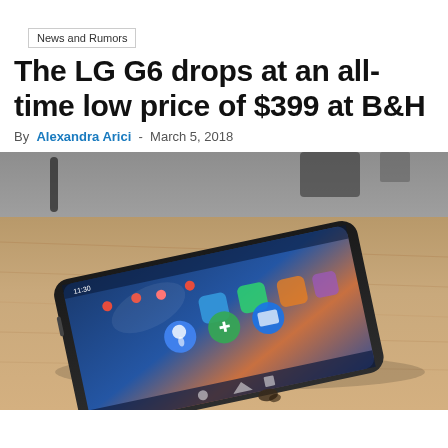News and Rumors
The LG G6 drops at an all-time low price of $399 at B&H
By Alexandra Arici - March 5, 2018
[Figure (photo): LG G6 smartphone lying flat on a wooden table, screen on showing Android home screen with app icons, shot from a low angle perspective]